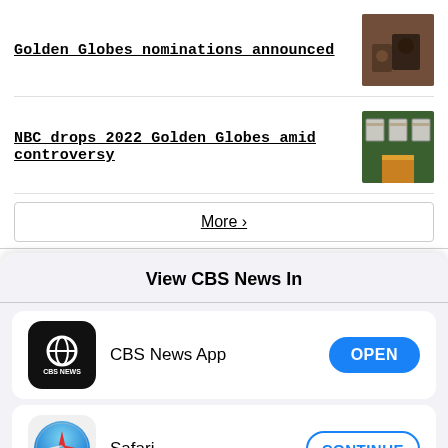Golden Globes nominations announced
[Figure (photo): Thumbnail image related to Golden Globes nominations]
NBC drops 2022 Golden Globes amid controversy
[Figure (photo): Thumbnail image related to NBC dropping 2022 Golden Globes]
More >
View CBS News In
[Figure (logo): CBS News App icon - black rounded square with CBS eye logo and CBS NEWS text]
CBS News App
OPEN
[Figure (logo): Safari browser icon - blue compass on white rounded square background]
Safari
CONTINUE